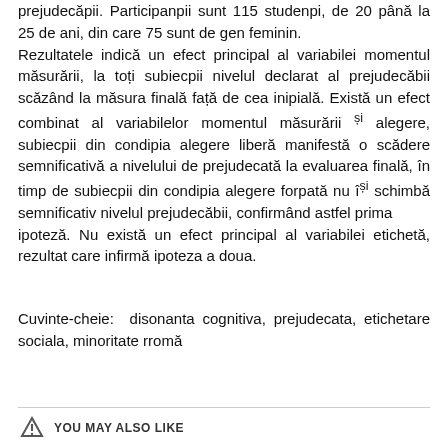prejudecăpii. Participanpii sunt 115 studenpi, de 20 până la 25 de ani, din care 75 sunt de gen feminin. Rezultatele indică un efect principal al variabilei momentul măsurării, la toți subiecpii nivelul declarat al prejudecăbii scăzând la măsura finală față de cea inipială. Există un efect combinat al variabilelor momentul măsurării și alegere, subiecpii din condipia alegere liberă manifestă o scădere semnificativă a nivelului de prejudecată la evaluarea finală, în timp de subiecpii din condipia alegere forpată nu îpi schimbă semnificativ nivelul prejudecăbii, confirmând astfel prima ipoteză. Nu există un efect principal al variabilei etichetă, rezultat care infirmă ipoteza a doua.
Cuvinte-cheie: disonanta cognitiva, prejudecata, etichetare sociala, minoritate rromă
YOU MAY ALSO LIKE